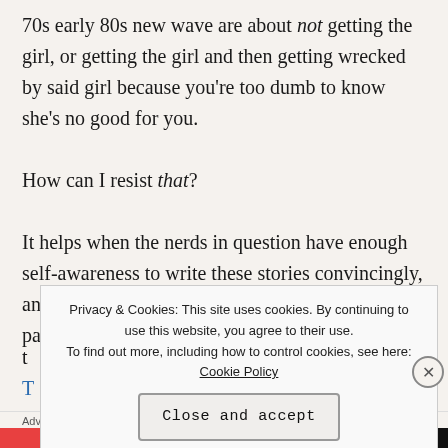70s early 80s new wave are about not getting the girl, or getting the girl and then getting wrecked by said girl because you're too dumb to know she's no good for you.

How can I resist that?

It helps when the nerds in question have enough self-awareness to write these stories convincingly, and have the additional skills of being able to pack t...
Privacy & Cookies: This site uses cookies. By continuing to use this website, you agree to their use. To find out more, including how to control cookies, see here: Cookie Policy
Close and accept
Advertisements